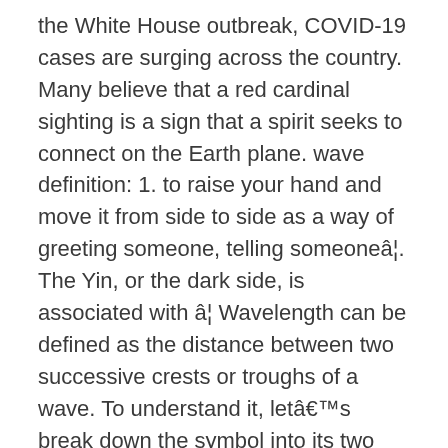the White House outbreak, COVID-19 cases are surging across the country. Many believe that a red cardinal sighting is a sign that a spirit seeks to connect on the Earth plane. wave definition: 1. to raise your hand and move it from side to side as a way of greeting someone, telling someoneâ¦. The Yin, or the dark side, is associated with â¦ Wavelength can be defined as the distance between two successive crests or troughs of a wave. To understand it, letâs break down the symbol into its two constituent parts. dark definition: 1. with little or no light: 2. nearer to black than white in colour: 3. sad and without hope: . Learn more. Some of the Cool Crest mechanical devices migrated to St.